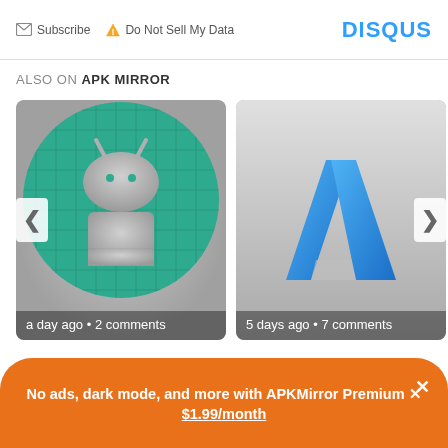Subscribe  Do Not Sell My Data   DISQUS
ALSO ON APK MIRROR
[Figure (screenshot): Two app cards side by side: left card shows a teal circle with Android robot icon, caption 'a day ago • 2 comments'; right card shows a blue caret/arrow logo on gray background, caption '5 days ago • 7 comments'. Navigation arrows on left and right edges.]
No ads, dark mode, and more with APKMirror Premium × $1.99/month